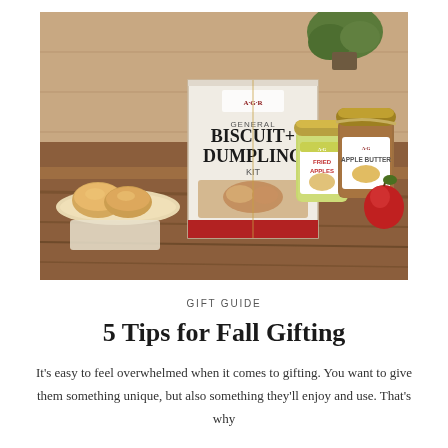[Figure (photo): Product photo showing a Biscuit + Dumpling Kit box, a jar of Fried Apples, and a jar of Apple Butter arranged on a wooden table, with biscuits on a plate to the left and a green plant in the background.]
GIFT GUIDE
5 Tips for Fall Gifting
It's easy to feel overwhelmed when it comes to gifting. You want to give them something unique, but also something they'll enjoy and use. That's why